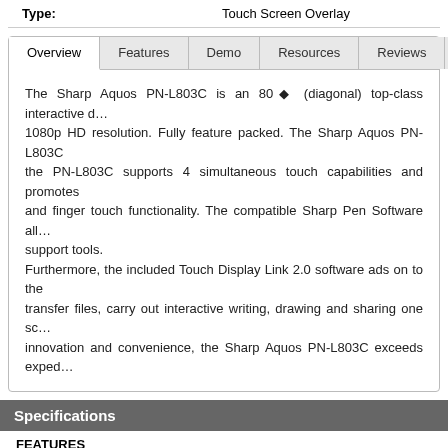Type: Touch Screen Overlay
Overview | Features | Demo | Resources | Reviews | About
The Sharp Aquos PN-L803C is an 80" (diagonal) top-class interactive display with 1080p HD resolution. Fully feature packed. The Sharp Aquos PN-L803C the PN-L803C supports 4 simultaneous touch capabilities and promotes and finger touch functionality. The compatible Sharp Pen Software allows support tools. Furthermore, the included Touch Display Link 2.0 software ads on to the transfer files, carry out interactive writing, drawing and sharing one screen innovation and convenience, the Sharp Aquos PN-L803C exceeds expectations.
Specifications
| FEATURES |  |
| --- | --- |
| Class Size (Inch) |  |
| Viewing Angle (H/V) |  |
| Protection Glass / Thickness |  |
| Touch Technology |  |
| Max. # of Touch Points |  |
| Max. # of Simultaneous Users |  |
| Passive Pen / # included |  |